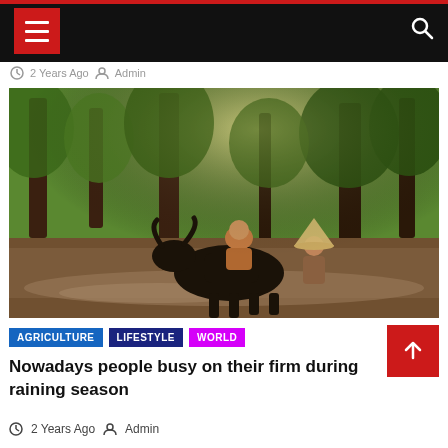Navigation header with hamburger menu and search icon
2 Years Ago  Admin
[Figure (photo): Two children and a water buffalo wading through a shallow river in a lush green forest. One child is riding on the buffalo's back, another walks beside it wearing a traditional conical hat.]
AGRICULTURE  LIFESTYLE  WORLD
Nowadays people busy on their firm during raining season
2 Years Ago  Admin